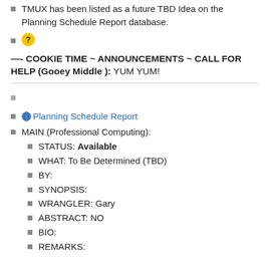TMUX has been listed as a future TBD Idea on the Planning Schedule Report database.
❓ (question mark icon)
—- COOKIE TIME ~ ANNOUNCEMENTS ~ CALL FOR HELP (Gooey Middle ): YUM YUM!
(empty bullet)
🌐 Planning Schedule Report
MAIN (Professional Computing):
STATUS: Available
WHAT: To Be Determined (TBD)
BY:
SYNOPSIS:
WRANGLER: Gary
ABSTRACT: NO
BIO:
REMARKS: